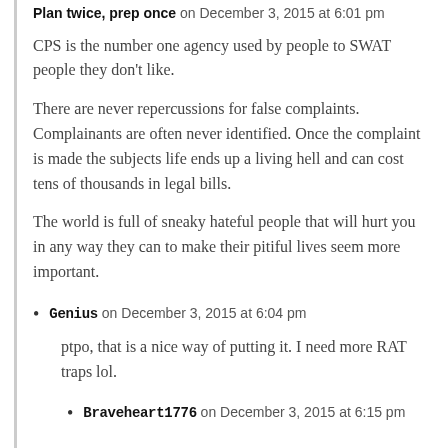Plan twice, prep once on December 3, 2015 at 6:01 pm
CPS is the number one agency used by people to SWAT people they don't like.
There are never repercussions for false complaints. Complainants are often never identified. Once the complaint is made the subjects life ends up a living hell and can cost tens of thousands in legal bills.
The world is full of sneaky hateful people that will hurt you in any way they can to make their pitiful lives seem more important.
Genius on December 3, 2015 at 6:04 pm
ptpo, that is a nice way of putting it. I need more RAT traps lol.
Braveheart1776 on December 3, 2015 at 6:15 pm